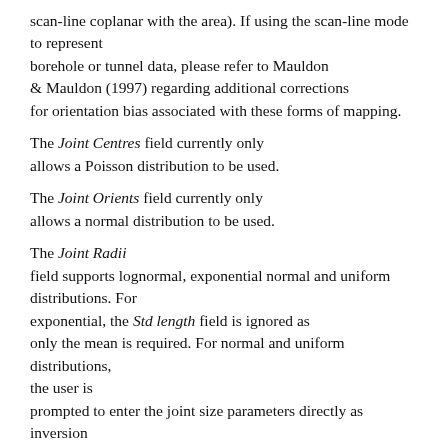scan-line coplanar with the area). If using the scan-line mode to represent borehole or tunnel data, please refer to Mauldon & Mauldon (1997) regarding additional corrections for orientation bias associated with these forms of mapping.
The Joint Centres field currently only allows a Poisson distribution to be used.
The Joint Orients field currently only allows a normal distribution to be used.
The Joint Radii field supports lognormal, exponential normal and uniform distributions. For exponential, the Std length field is ignored as only the mean is required. For normal and uniform distributions, the user is prompted to enter the joint size parameters directly as inversion of trace parameter data is not available for these distributions.